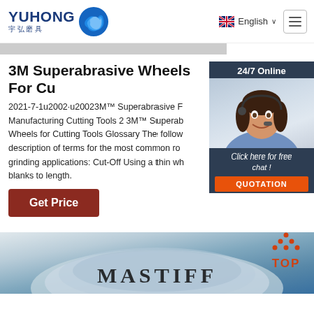YUHONG 宇弘磨具 | English | Menu
3M Superabrasive Wheels For Cu
2021-7-1u2002·u20023M™ Superabrasive F Manufacturing Cutting Tools 2 3M™ Superabrasive Wheels for Cutting Tools Glossary The following description of terms for the most common rotary grinding applications: Cut-Off Using a thin wh blanks to length.
[Figure (photo): Customer service agent woman wearing headset, smiling, with 24/7 Online chat widget overlay and QUOTATION button]
Get Price
[Figure (photo): MASTIFF branded grinding wheel product image, partially visible at bottom of page]